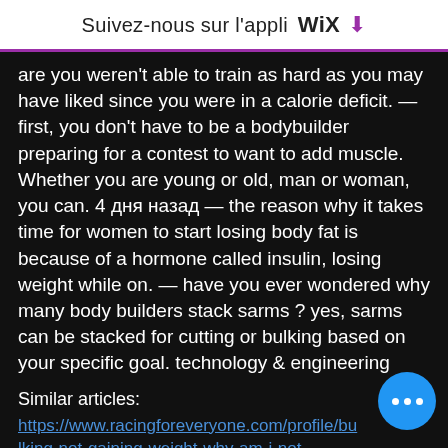Suivez-nous sur l'appli WiX ⬇
are you weren't able to train as hard as you may have liked since you were in a calorie deficit. — first, you don't have to be a bodybuilder preparing for a contest to want to add muscle. Whether you are young or old, man or woman, you can. 4 дня назад — the reason why it takes time for women to start losing body fat is because of a hormone called insulin, losing weight while on. — have you ever wondered why many body builders stack sarms ? yes, sarms can be stacked for cutting or bulking based on your specific goal. technology &amp; engineering
Similar articles:
https://www.racingforeveryone.com/profile/bulking-not-gaining-weight-why-am-i-not-1800/profile
http://6db7b8734c4607566.temporary.lin... WSA/community/profile/gbulk37569782/